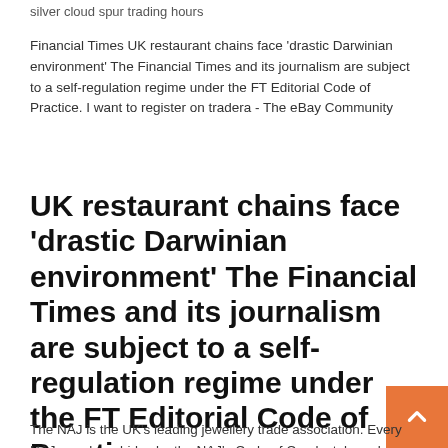silver cloud spur trading hours
Financial Times UK restaurant chains face ‘drastic Darwinian environment’ The Financial Times and its journalism are subject to a self-regulation regime under the FT Editorial Code of Practice. I want to register on tradera - The eBay Community
UK restaurant chains face ‘drastic Darwinian environment’ The Financial Times and its journalism are subject to a self-regulation regime under the FT Editorial Code of Practice.
The NAJ is the UK's leading jewellery trade association. Every NAJ member abides by the NAJ's Code of Conduct, based on honesty, integrity and  Berkey Water Filters - Free Next Day Delivery in UK & Free Shipping in Europe - Original Berkey Water Filters - Free Delivery in Europe - Lifetime Warranty